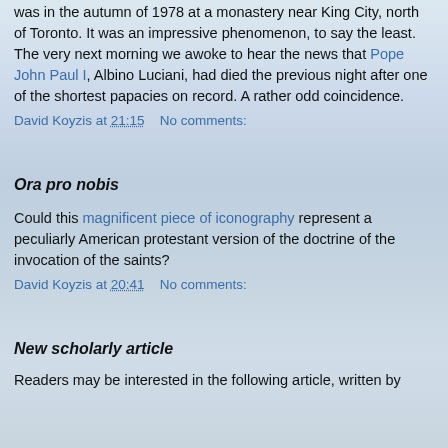was in the autumn of 1978 at a monastery near King City, north of Toronto. It was an impressive phenomenon, to say the least. The very next morning we awoke to hear the news that Pope John Paul I, Albino Luciani, had died the previous night after one of the shortest papacies on record. A rather odd coincidence.
David Koyzis at 21:15    No comments:
Ora pro nobis
Could this magnificent piece of iconography represent a peculiarly American protestant version of the doctrine of the invocation of the saints?
David Koyzis at 20:41    No comments:
New scholarly article
Readers may be interested in the following article, written by